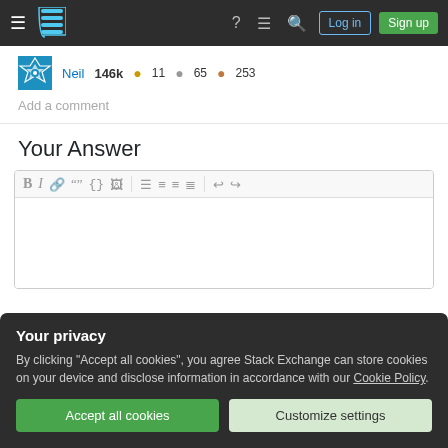Stack Exchange navigation bar with Log in and Sign up buttons
Neil 146k ● 11 ● 65 ● 253
Add a comment
Your Answer
[Figure (screenshot): Rich text editor toolbar with bold, italic, link, quote, code, image, ordered list, unordered list, align left, align justify, undo, redo buttons]
Your privacy
By clicking "Accept all cookies", you agree Stack Exchange can store cookies on your device and disclose information in accordance with our Cookie Policy.
Accept all cookies
Customize settings